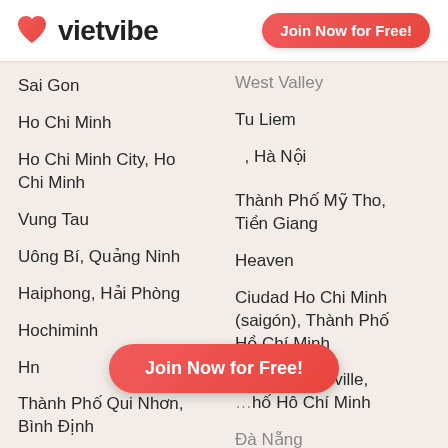[Figure (logo): VietVibe logo with heart icon and Join Now for Free button]
West Valley
Sai Gon
Tu Liem
Ho Chi Minh
, Hà Nội
Ho Chi Minh City, Ho Chi Minh
Vung Tau
Thành Phố Mỹ Tho, Tiền Giang
Uông Bí, Quảng Ninh
Heaven
Haiphong, Hải Phòng
Ciudad Ho Chi Minh (saigón), Thành Phố Hồ Chí Minh
Hochiminh
Hô Chi Minh-ville, Thành Phố Hô Chí Minh
Hn
Thành Phố Qui Nhơn, Bình Định
Đà Nẵng
Thành Phố Thanh Hoá, Thanh Hoá
San Jose
Tp. Vĩnh Long, Vĩnh Long
Thành Phố Cam Ranh, Khánh Hòa